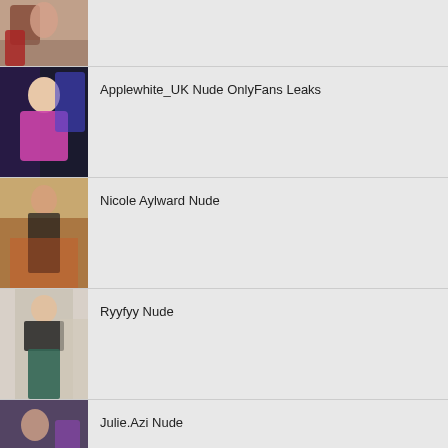(partial row — image only, text cut off)
Applewhite_UK Nude OnlyFans Leaks
Nicole Aylward Nude
Ryyfyy Nude
Julie.Azi Nude